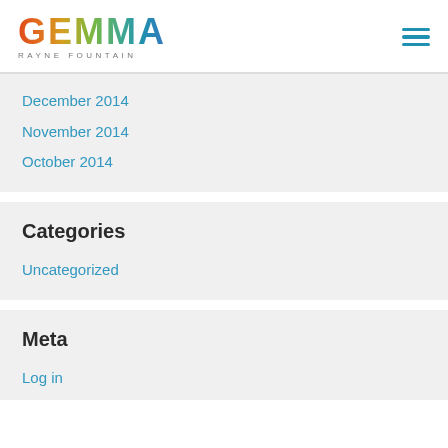GEMMA RAYNE FOUNTAIN
December 2014
November 2014
October 2014
Categories
Uncategorized
Meta
Log in